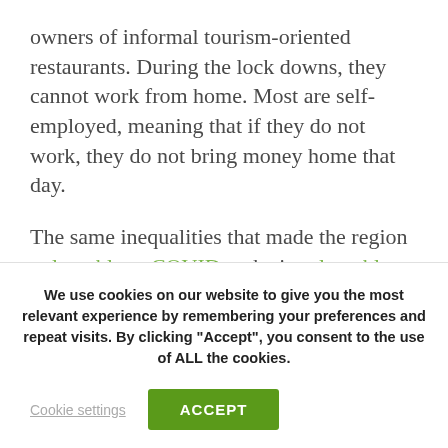owners of informal tourism-oriented restaurants. During the lock downs, they cannot work from home. Most are self-employed, meaning that if they do not work, they do not bring money home that day.
The same inequalities that made the region vulnerable to COVID make it vulnerable to climate change impacts. With climate change comes more frequent and devastating hurricanes. In the Caribbean, one consequence is shorter tourism seasons. For
We use cookies on our website to give you the most relevant experience by remembering your preferences and repeat visits. By clicking "Accept", you consent to the use of ALL the cookies.
Cookie settings
ACCEPT